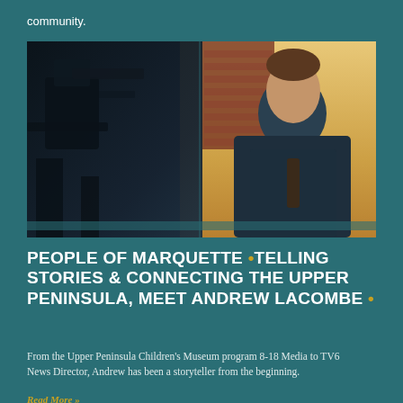community.
[Figure (photo): A man in a dark suit with a tie stands in a broadcast studio. The left portion of the image shows camera equipment in silhouette. The background shows a warm studio setting with brick elements.]
PEOPLE OF MARQUETTE •TELLING STORIES & CONNECTING THE UPPER PENINSULA, MEET ANDREW LACOMBE •
From the Upper Peninsula Children's Museum program 8-18 Media to TV6 News Director, Andrew has been a storyteller from the beginning.
Read More »